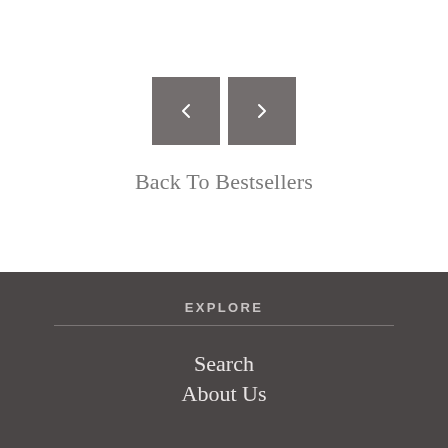[Figure (other): Two navigation arrow buttons side by side — a left chevron button and a right chevron button, both with grey background (#736e6e)]
Back To Bestsellers
EXPLORE
Search
About Us